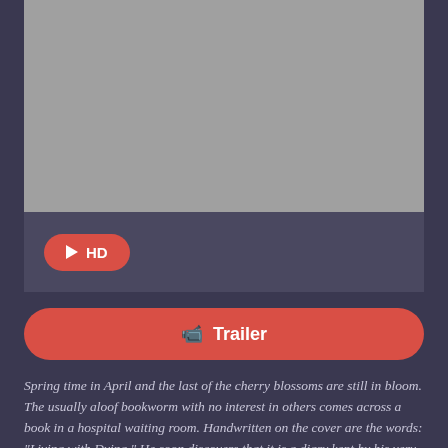[Figure (photo): Video player area with gray background placeholder]
[Figure (screenshot): Controls bar with HD play button on dark background]
▶ HD
🎥 Trailer
Spring time in April and the last of the cherry blossoms are still in bloom. The usually aloof bookworm with no interest in others comes across a book in a hospital waiting room. Handwritten on the cover are the words: "Living with Dying." He soon discovers that it is a diary kept by his very popular and genuinely cheerful classmate, Sakura Yamauchi, who reveals to him that she is secretly suffering from a pancreatic illness and only has a limited time left. It is at this moment that she gains just one more person to share her secret. Trying to maintain a normal life as much as possible, Sakura is determined to live her life to the fullest until the very last day. As her free spirit and unpredictable actions throw him for a loop, his heart